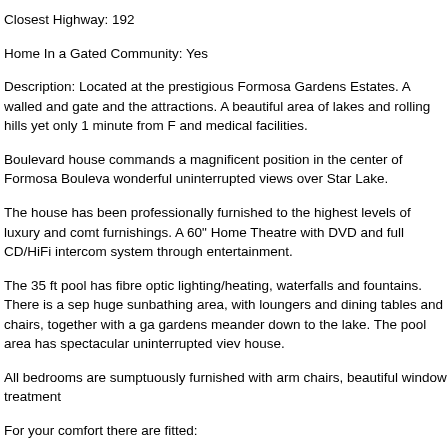Closest Highway: 192
Home In a Gated Community: Yes
Description: Located at the prestigious Formosa Gardens Estates. A walled and gate and the attractions. A beautiful area of lakes and rolling hills yet only 1 minute from F and medical facilities.
Boulevard house commands a magnificent position in the center of Formosa Bouleva wonderful uninterrupted views over Star Lake.
The house has been professionally furnished to the highest levels of luxury and comt furnishings. A 60" Home Theatre with DVD and full CD/HiFi intercom system through entertainment.
The 35 ft pool has fibre optic lighting/heating, waterfalls and fountains. There is a sep huge sunbathing area, with loungers and dining tables and chairs, together with a ga gardens meander down to the lake. The pool area has spectacular uninterrupted viev house.
All bedrooms are sumptuously furnished with arm chairs, beautiful window treatment
For your comfort there are fitted: